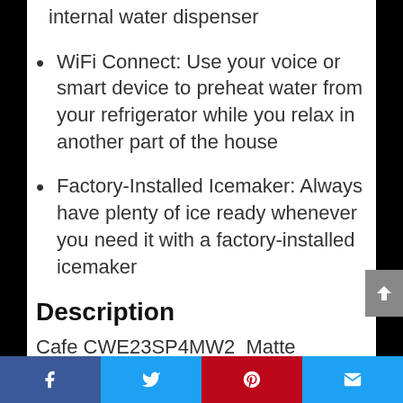internal water dispenser
WiFi Connect: Use your voice or smart device to preheat water from your refrigerator while you relax in another part of the house
Factory-Installed Icemaker: Always have plenty of ice ready whenever you need it with a factory-installed icemaker
Description
Cafe CWE23SP4MW2  Matte Collection